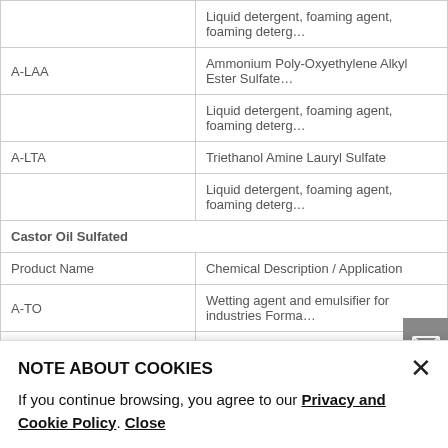| Product Name | Chemical Description / Application |
| --- | --- |
|  | Liquid detergent, foaming agent, foaming deterg… |
| A-LAA | Ammonium Poly-Oxyethylene Alkyl Ester Sulfate… |
|  | Liquid detergent, foaming agent, foaming deterg… |
| A-LTA | Triethanol Amine Lauryl Sulfate |
|  | Liquid detergent, foaming agent, foaming deterg… |
| Castor Oil Sulfated |  |
| Product Name | Chemical Description / Application |
| A-TO | Wetting agent and emulsifier for industries Forma… |
| Sullosuccinates |  |
| Product Name | Chemical Description / Application |
| A-SSB… | Disodium Lauryl Polyglycol Ether Sulfosuccinate… |
|  | Conditioning/wetting agent for stockings, textile… |
| A-SSC… | Disodium Dioctyl Sulfosuccinate… |
NOTE ABOUT COOKIES
If you continue browsing, you agree to our Privacy and Cookie Policy. Close